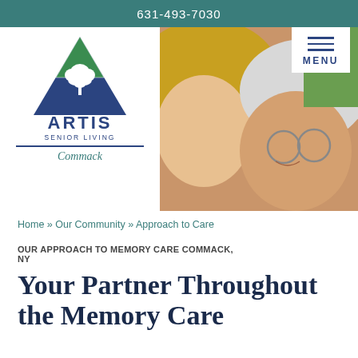631-493-7030
[Figure (logo): Artis Senior Living Commack logo: green and blue triangle with white tree, brand name ARTIS SENIOR LIVING Commack]
[Figure (photo): Hero photo: two women smiling together, one younger and one elderly with white hair and glasses]
Home » Our Community » Approach to Care
OUR APPROACH TO MEMORY CARE COMMACK, NY
Your Partner Throughout the Memory Care Journey